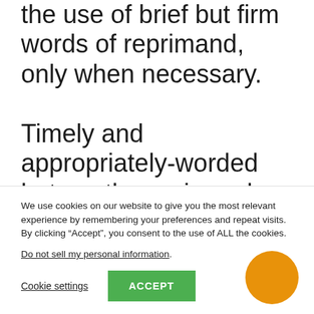the use of brief but firm words of reprimand, only when necessary. Timely and appropriately-worded but gentle reprimands to an emotional wife go a long way in maintaining the communication and cordiality in a marriage
We use cookies on our website to give you the most relevant experience by remembering your preferences and repeat visits. By clicking “Accept”, you consent to the use of ALL the cookies.
Do not sell my personal information.
Cookie settings   ACCEPT